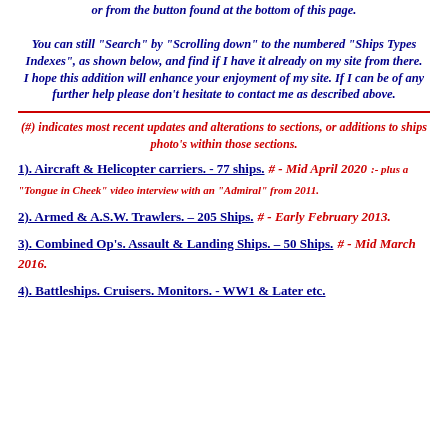or from the button found at the bottom of this page. You can still "Search" by "Scrolling down" to the numbered "Ships Types Indexes", as shown below, and find if I have it already on my site from there. I hope this addition will enhance your enjoyment of my site. If I can be of any further help please don't hesitate to contact me as described above.
(#) indicates most recent updates and alterations to sections, or additions to ships photo's within those sections.
1). Aircraft & Helicopter carriers. - 77 ships. # - Mid April 2020 :- plus a "Tongue in Cheek" video interview with an "Admiral" from 2011.
2). Armed & A.S.W. Trawlers. – 205 Ships. # - Early February 2013.
3). Combined Op's. Assault & Landing Ships. – 50 Ships. # - Mid March 2016.
4). Battleships. Cruisers. Monitors. - WW1 & Later etc.